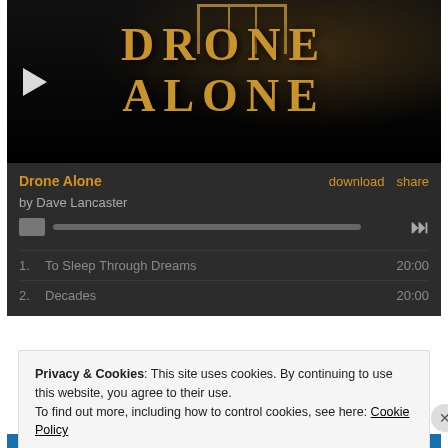[Figure (screenshot): Music player screenshot showing 'Drone Alone' album art with golden art-deco text on black background, play button visible. Below is a dark player control bar with title, download/share links, progress bar, and track listing showing two tracks: 1. To Sleep Through Dreams 20:00, 2. Decades 20:00. A cookie consent overlay is shown with 'Close and accept' button.]
Drone Alone
by Dave Lancaster
1.  To Sleep Through Dreams    20:00
2.  Decades    20:00
Privacy & Cookies: This site uses cookies. By continuing to use this website, you agree to their use.
To find out more, including how to control cookies, see here: Cookie Policy
Close and accept